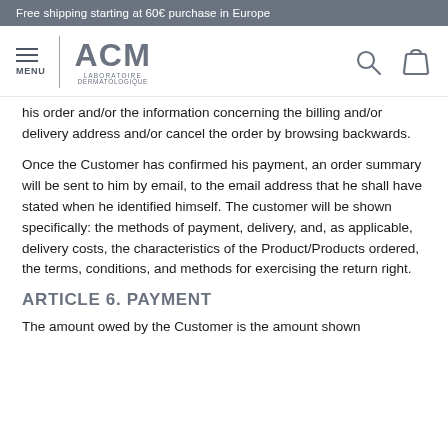Free shipping starting at 60€ purchase in Europe
[Figure (logo): ACM Laboratoire Dermatologique logo with hamburger menu icon, search icon, and shopping bag icon]
his order and/or the information concerning the billing and/or delivery address and/or cancel the order by browsing backwards.
Once the Customer has confirmed his payment, an order summary will be sent to him by email, to the email address that he shall have stated when he identified himself. The customer will be shown specifically: the methods of payment, delivery, and, as applicable, delivery costs, the characteristics of the Product/Products ordered, the terms, conditions, and methods for exercising the return right.
ARTICLE 6. PAYMENT
The amount owed by the Customer is the amount shown